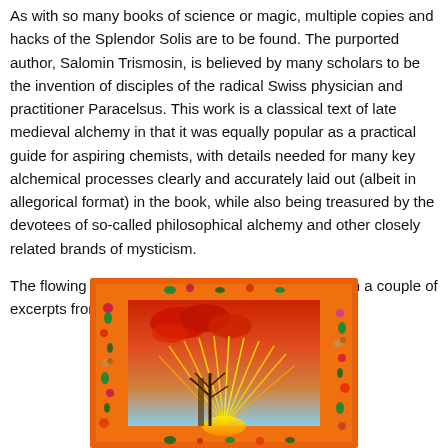As with so many books of science or magic, multiple copies and hacks of the Splendor Solis are to be found. The purported author, Salomin Trismosin, is believed by many scholars to be the invention of disciples of the radical Swiss physician and practitioner Paracelsus. This work is a classical text of late medieval alchemy in that it was equally popular as a practical guide for aspiring chemists, with details needed for many key alchemical processes clearly and accurately laid out (albeit in allegorical format) in the book, while also being treasured by the devotees of so-called philosophical alchemy and other closely related brands of mysticism.
The flowing are images from the Splendor Solis, with a couple of excerpts from the text:
[Figure (illustration): Illuminated manuscript illustration from the Splendor Solis showing a decorative border with flowers, leaves, snails, birds and other natural motifs in red, green, and gold on an orange background. The central image depicts a red sky with clouds, a bare tree, and radiant sunburst rays in orange and yellow tones, with a blue sky visible behind the central scene.]